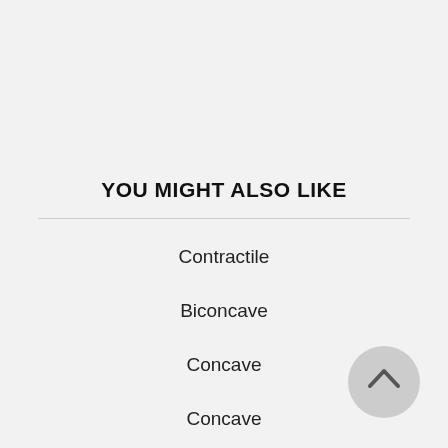YOU MIGHT ALSO LIKE
Contractile
Biconcave
Concave
Concave
Incontrovertible